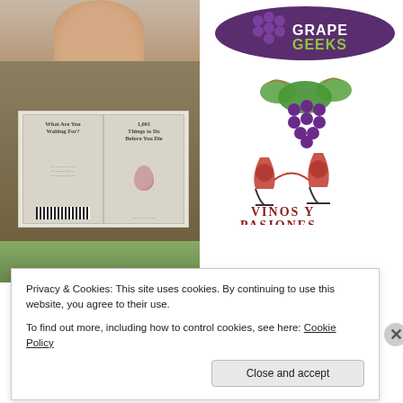[Figure (photo): Top portion of a person's face and neck, close-up portrait photo]
[Figure (logo): Grape Geeks logo - purple oval with cartoon grape, book, and wine glass, text reads GRAPE GEEKS]
[Figure (photo): Woman holding open books in front of her face, books titled 'What Are You Waiting For?' and '1,001 Things to Do Before You Die']
[Figure (logo): Vinos y Pasiones logo - decorative grape cluster with vine leaves above two red wine glasses, text reads VINOS Y PASIONES]
[Figure (photo): Partial view of a green outdoor scene, bottom portion cut off]
Privacy & Cookies: This site uses cookies. By continuing to use this website, you agree to their use.
To find out more, including how to control cookies, see here: Cookie Policy
Close and accept